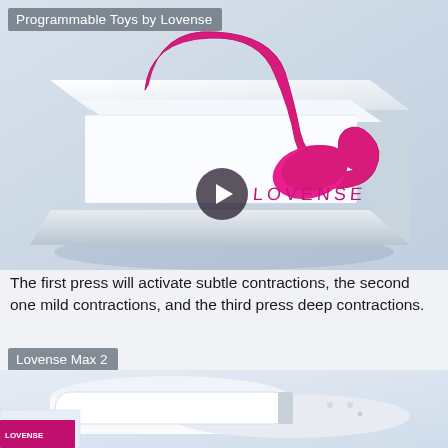[Figure (photo): Lovense product (pink U-shaped toy) in a white box packaging, displayed on a light blue-grey background. A play button overlay is visible in the center of the image.]
Programmable Toys by Lovense
The first press will activate subtle contractions, the second one mild contractions, and the third press deep contractions.
Lovense Max 2
[Figure (photo): Lovense Max 2 white cylindrical device shown next to packaging and a smartphone, on a light grey background. A play button overlay is visible.]